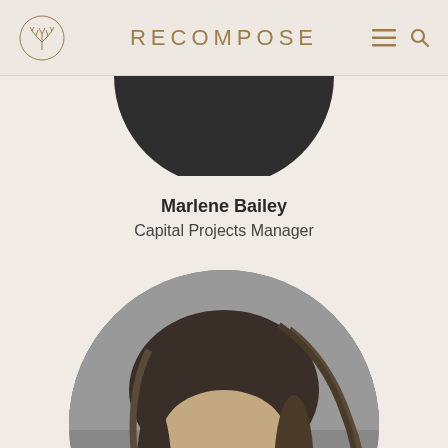RECOMPOSE
[Figure (photo): Partial circular dark profile photo visible at top (cropped semicircle)]
Marlene Bailey
Capital Projects Manager
[Figure (photo): Black and white circular portrait photo of Marlene Bailey, a woman with long hair and glasses, photographed outdoors with foliage in the background]